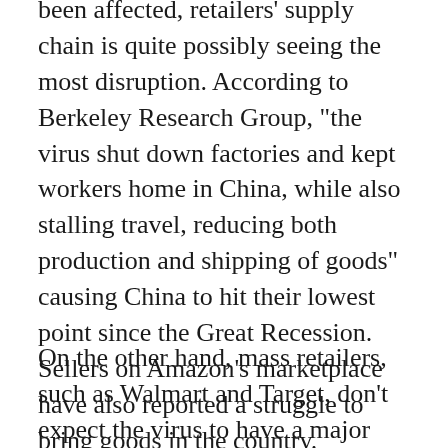been affected, retailers' supply chain is quite possibly seeing the most disruption. According to Berkeley Research Group, "the virus shut down factories and kept workers home in China, while also stalling travel, reducing both production and shipping of goods" causing China to hit their lowest point since the Great Recession. Sellers on Amazon's marketplace have also reported a struggle to bring goods in the country. Industries such as toys - with 80% of imports sourcing from China alone - and apparel could see significant supply chain disruptions on second quarter and beyond.
On the other hand, mass retailers, such as Walmart and Target, don't expect the virus to have a major impact on their year-end